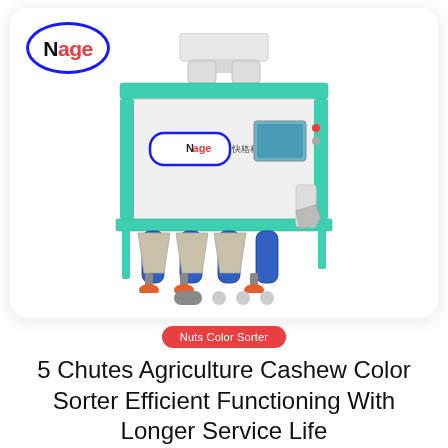[Figure (photo): Front-facing view of a 5-chute industrial cashew color sorter machine with teal/green trim, blue cylindrical air components, white body, and a touchscreen panel. The Nage brand logo appears on the machine body. Four outflow chutes are visible at the bottom with orange rubber feet.]
Nuts Color Sorter
5 Chutes Agriculture Cashew Color Sorter Efficient Functioning With Longer Service Life